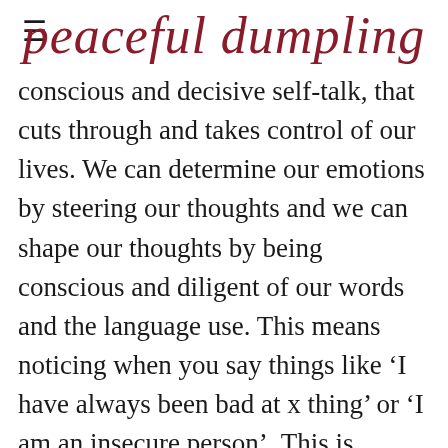≡
peaceful dumpling
conscious and decisive self-talk, that cuts through and takes control of our lives. We can determine our emotions by steering our thoughts and we can shape our thoughts by being conscious and diligent of our words and the language use. This means noticing when you say things like 'I have always been bad at x thing' or 'I am an insecure person'. This is putting a 20kg dumbbell in the arm of your negative self-thoughts and allowing it to do 100 bicep curls. You just reinforced the neural pathway to making those thoughts become beliefs to the point that they seem like a genuine truth. 'But I am an insecure person!'